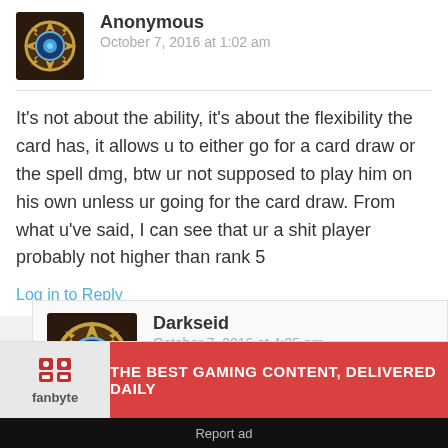Anonymous
October 7, 2016 at 1:02 am
It's not about the ability, it's about the flexibility the card has, it allows u to either go for a card draw or the spell dmg, btw ur not supposed to play him on his own unless ur going for the card draw. From what u've said, I can see that ur a shit player probably not higher than rank 5
Log in to Reply
Darkseid
October 7, 2016 at 4:35 pm
[Figure (infographic): fanbyte ad banner: THE BEST GAMING CONTENT, DELIVERED DAILY]
Report ad